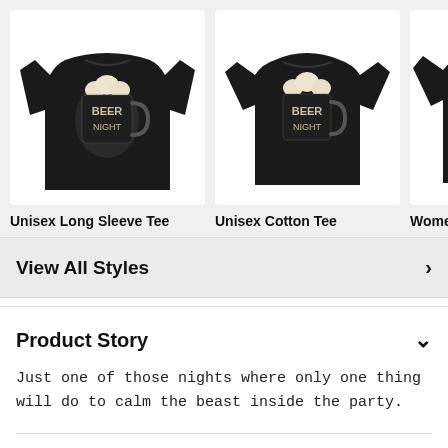[Figure (photo): Black long sleeve tee with 'Beer Night' graphic showing a beer mug]
[Figure (photo): Black short sleeve cotton tee with 'Beer Night' graphic showing a beer mug]
[Figure (photo): Black women's cotton tee with 'Beer Night' graphic, partially cropped]
Unisex Long Sleeve Tee
Unisex Cotton Tee
Women's Co
View All Styles
Product Story
Just one of those nights where only one thing will do to calm the beast inside the party.
Product Features